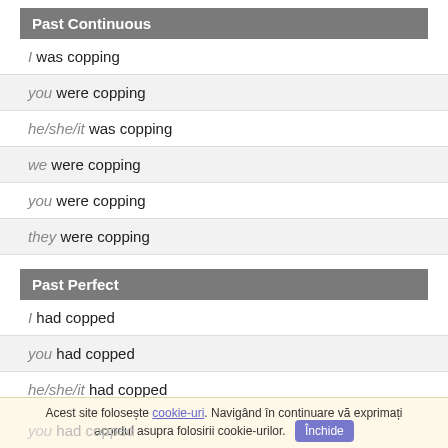Past Continuous
I was copping
you were copping
he/she/it was copping
we were copping
you were copping
they were copping
Past Perfect
I had copped
you had copped
he/she/it had copped
Acest site folosește cookie-uri. Navigând în continuare vă exprimați acordul asupra folosirii cookie-urilor. Închide